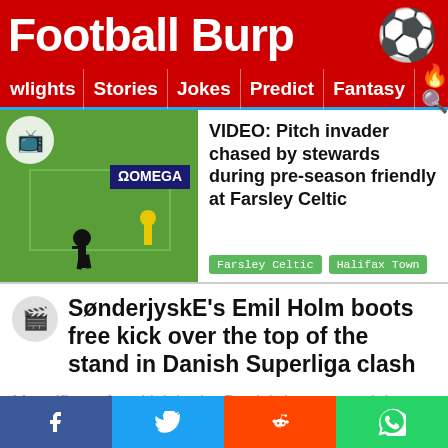Football Burp
wlights | Stories | Jokes | Predict | Fantasy
[Figure (screenshot): Video thumbnail of pitch invader being chased by stewards on a football field]
VIDEO: Pitch invader chased by stewards during pre-season friendly at Farsley Celtic
Farsley Celtic   Halifax Town
SønderjyskE's Emil Holm boots free kick over the top of the stand in Danish Superliga clash
Magnificent free kick in the Danish League tonight.
pic.twitter.com/alYnLcdH3l
Facebook  Twitter  Reddit  WhatsApp